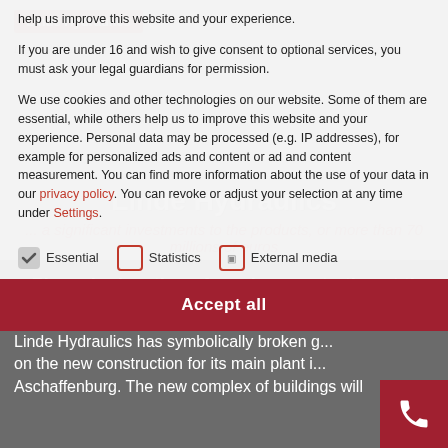[Figure (screenshot): Cookie consent overlay on top of a Linde Hydraulics website page. The background shows the Linde Hydraulics logo, a page heading about investments, and bullet points. The overlay contains cookie consent text with checkboxes for Essential, Statistics, and External media, and an Accept all button. A red phone button is visible in the bottom right.]
help us improve this website and your experience.

If you are under 16 and wish to give consent to optional services, you must ask your legal guardians for permission.

We use cookies and other technologies on our website. Some of them are essential, while others help us to improve this website and your experience. Personal data may be processed (e.g. IP addresses), for example for personalized ads and content or ad and content measurement. You can find more information about the use of your data in our privacy policy. You can revoke or adjust your selection at any time under Settings.
Essential
Statistics
External media
Accept all
Phased relocation of employees starting at the end of 2015
Linde Hydraulics has symbolically broken g... on the new construction for its main plant i... Aschaffenburg. The new complex of buildings will...